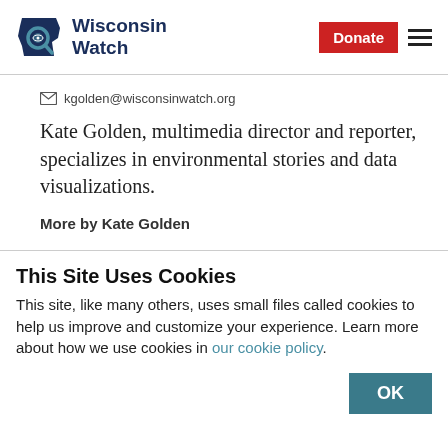Wisconsin Watch | Donate
kgolden@wisconsinwatch.org
Kate Golden, multimedia director and reporter, specializes in environmental stories and data visualizations.
More by Kate Golden
This Site Uses Cookies
This site, like many others, uses small files called cookies to help us improve and customize your experience. Learn more about how we use cookies in our cookie policy.
OK